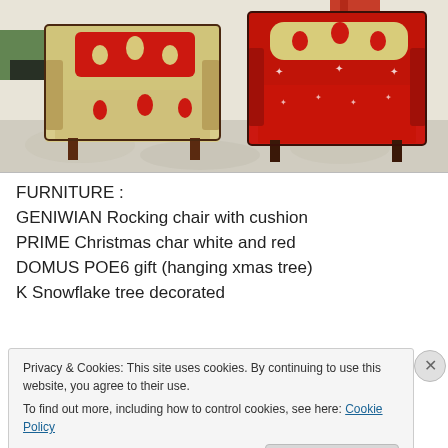[Figure (photo): Two decorative armchairs side by side — left chair upholstered in cream/gold fabric with red dot pattern and a red cushion; right chair fully upholstered in red fabric with white star pattern and a cream/red bolster cushion. Indoor setting with plants and curtains in background.]
FURNITURE :
GENIWIAN Rocking chair with cushion
PRIME Christmas char white and red
DOMUS POE6 gift (hanging xmas tree)
K Snowflake tree decorated
Privacy & Cookies: This site uses cookies. By continuing to use this website, you agree to their use.
To find out more, including how to control cookies, see here: Cookie Policy
Close and accept